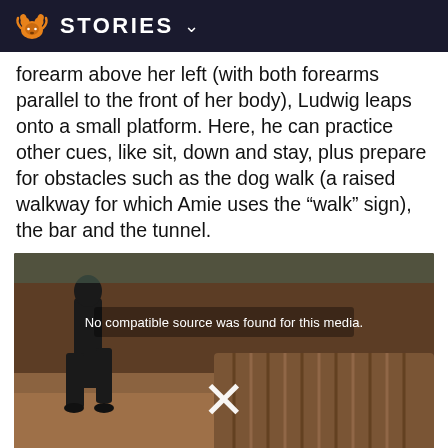STORIES
forearm above her left (with both forearms parallel to the front of her body), Ludwig leaps onto a small platform. Here, he can practice other cues, like sit, down and stay, plus prepare for obstacles such as the dog walk (a raised walkway for which Amie uses the “walk” sign), the bar and the tunnel.
[Figure (photo): A video player showing an outdoor sandy arena with a dog agility tunnel obstacle. A person in dark clothing is visible. The video has failed to load, showing the message 'No compatible source was found for this media.' and an X icon in the center.]